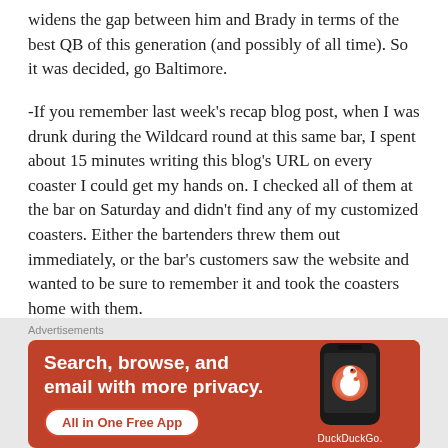widens the gap between him and Brady in terms of the best QB of this generation (and possibly of all time). So it was decided, go Baltimore.
-If you remember last week’s recap blog post, when I was drunk during the Wildcard round at this same bar, I spent about 15 minutes writing this blog’s URL on every coaster I could get my hands on. I checked all of them at the bar on Saturday and didn’t find any of my customized coasters. Either the bartenders threw them out immediately, or the bar’s customers saw the website and wanted to be sure to remember it and took the coasters home with them.
Advertisements
[Figure (other): DuckDuckGo advertisement banner with orange background. Text reads: 'Search, browse, and email with more privacy. All in One Free App'. Shows a phone with the DuckDuckGo logo and brand name.]